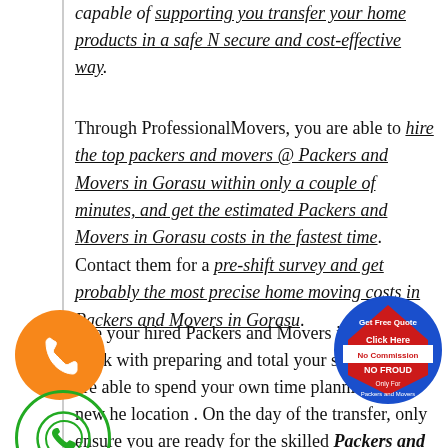capable of supporting you transfer your home products in a safe N secure and cost-effective way.
Through ProfessionalMovers, you are able to hire the top packers and movers @ Packers and Movers in Gorasu within only a couple of minutes, and get the estimated Packers and Movers in Gorasu costs in the fastest time. Contact them for a pre-shift survey and get probably the most precise home moving costs in Packers and Movers in Gorasu.
[Figure (illustration): Orange circle phone icon]
[Figure (illustration): Green circle WhatsApp phone icon]
[Figure (illustration): Blue and red circular badge: Get Free Quote, Click Here, No Commission, NO FROUD, Only For Packers and Movers]
hile your hired Packers and Movers in Gorasu he work with preparing and total your shifting, you are able to spend your own time planning your new he location . On the day of the transfer, only ensure you are ready for the skilled Packers and Movers in Gorasu and you will be prepared hitting.